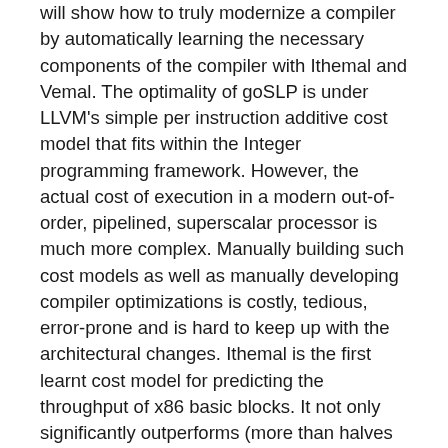will show how to truly modernize a compiler by automatically learning the necessary components of the compiler with Ithemal and Vemal. The optimality of goSLP is under LLVM's simple per instruction additive cost model that fits within the Integer programming framework. However, the actual cost of execution in a modern out-of-order, pipelined, superscalar processor is much more complex. Manually building such cost models as well as manually developing compiler optimizations is costly, tedious, error-prone and is hard to keep up with the architectural changes. Ithemal is the first learnt cost model for predicting the throughput of x86 basic blocks. It not only significantly outperforms (more than halves the error) state-of-the-art analytical hand-written tools like llvm-mca, but also is learnt from data requiring minimal human effort. Vemal is a learnt policy for end-to-end vectorization as opposed to tuning heuristics, which outperforms LLVM's SLP vectorizer. These data-driven techniques can help achieve state-of-the-art results while also reducing the development and maintenance burden of the compiler developer.